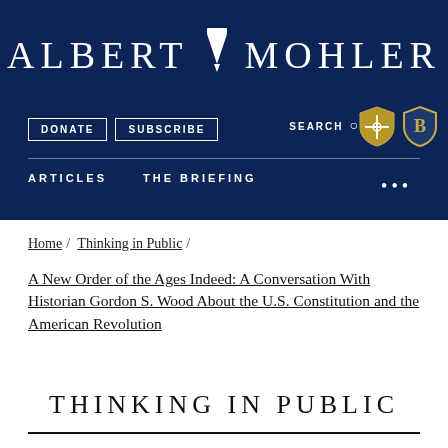ALBERT MOHLER
DONATE  SUBSCRIBE  SEARCH  ARTICLES  THE BRIEFING
Home / Thinking in Public /
A New Order of the Ages Indeed: A Conversation With Historian Gordon S. Wood About the U.S. Constitution and the American Revolution
THINKING IN PUBLIC